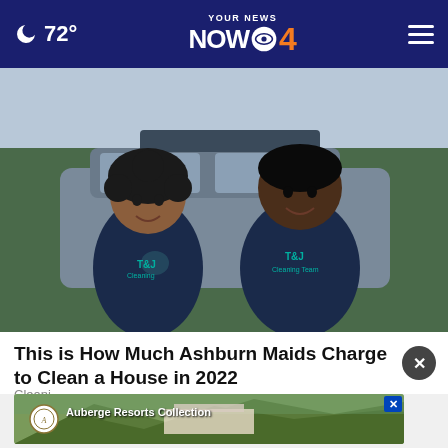72° YOUR NEWS NOW CBS 4
[Figure (photo): Two women wearing navy blue polo shirts with a company logo standing in front of a car, smiling at the camera outdoors.]
This is How Much Ashburn Maids Charge to Clean a House in 2022
Cleani...
[Figure (photo): Advertisement banner for Auberge Resorts Collection showing a mountain resort landscape.]